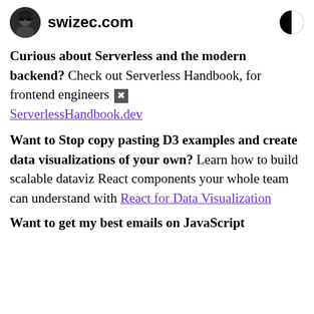swizec.com
Curious about Serverless and the modern backend? Check out Serverless Handbook, for frontend engineers 🔲 ServerlessHandbook.dev
Want to Stop copy pasting D3 examples and create data visualizations of your own? Learn how to build scalable dataviz React components your whole team can understand with React for Data Visualization
Want to get my best emails on JavaScript